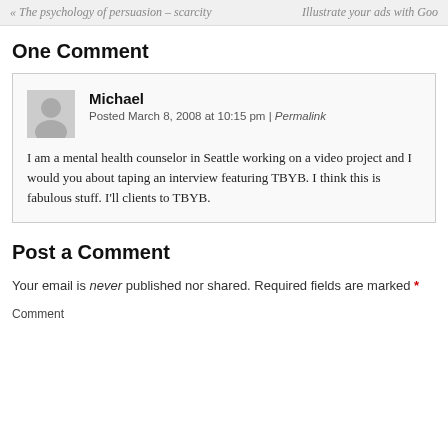« The psychology of persuasion – scarcity    Illustrate your ads with Goo
One Comment
Michael
Posted March 8, 2008 at 10:15 pm | Permalink
I am a mental health counselor in Seattle working on a video project and I would you about taping an interview featuring TBYB. I think this is fabulous stuff. I'll clients to TBYB.
Post a Comment
Your email is never published nor shared. Required fields are marked *
Comment